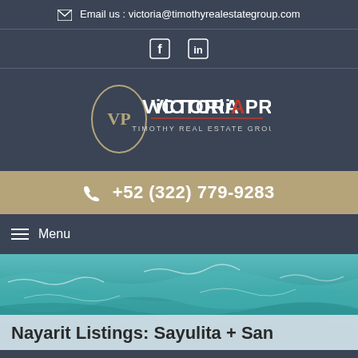Email us : victoria@timothyrealestategroup.com
[Figure (illustration): Social media icons: Facebook and LinkedIn]
[Figure (logo): Victoria Pratt - Timothy Real Estate Group logo with oval VP monogram]
+52 (322) 779-9283
Menu
[Figure (photo): Ocean/sea waves photo with teal-green water]
Nayarit Listings: Sayulita + San